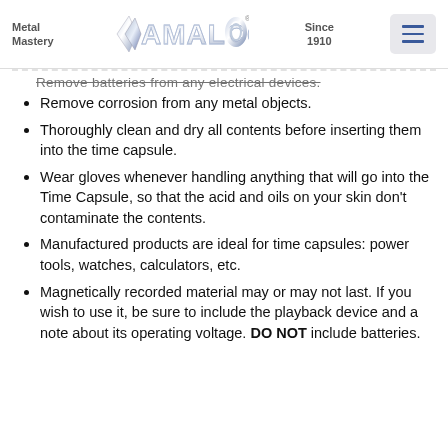Metal Mastery | AMALCO | Since 1910
Remove batteries from any electrical devices. [truncated/partially visible]
Remove corrosion from any metal objects.
Thoroughly clean and dry all contents before inserting them into the time capsule.
Wear gloves whenever handling anything that will go into the Time Capsule, so that the acid and oils on your skin don't contaminate the contents.
Manufactured products are ideal for time capsules: power tools, watches, calculators, etc.
Magnetically recorded material may or may not last. If you wish to use it, be sure to include the playback device and a note about its operating voltage. DO NOT include batteries.